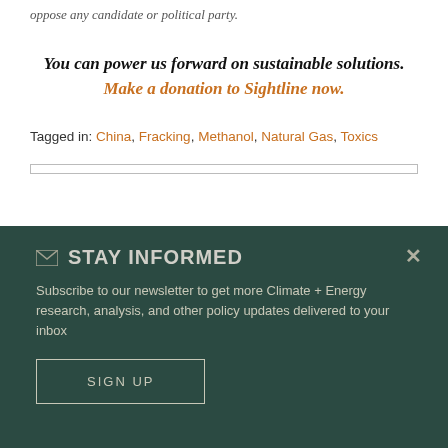oppose any candidate or political party.
You can power us forward on sustainable solutions. Make a donation to Sightline now.
Tagged in: China, Fracking, Methanol, Natural Gas, Toxics
✉ STAY INFORMED
Subscribe to our newsletter to get more Climate + Energy research, analysis, and other policy updates delivered to your inbox
SIGN UP